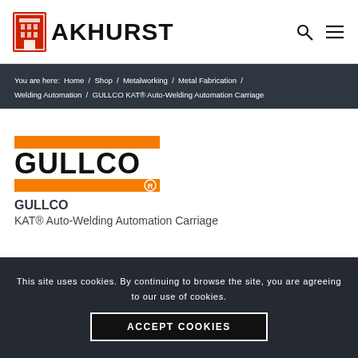AKHURST
You are here:  Home  /  Shop  /  Metalworking  /  Metal Fabrication  /  Welding Automation  /  GULLCO KAT® Auto-Welding Automation Carriage
[Figure (logo): GULLCO logo with orange bars and registered trademark]
GULLCO
KAT® Auto-Welding Automation Carriage
This site uses cookies. By continuing to browse the site, you are agreeing to our use of cookies.